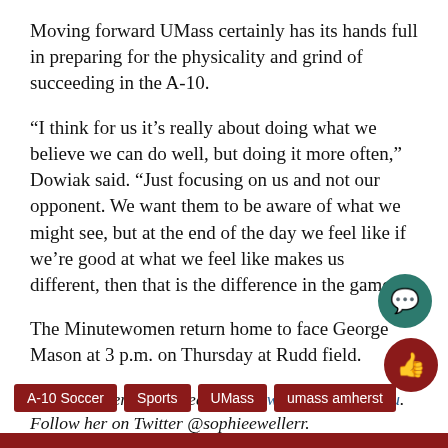Moving forward UMass certainly has its hands full in preparing for the physicality and grind of succeeding in the A-10.
“I think for us it’s really about doing what we believe we can do well, but doing it more often,” Dowiak said. “Just focusing on us and not our opponent. We want them to be aware of what we might see, but at the end of the day we feel like if we’re good at what we feel like makes us different, then that is the difference in the game.”
The Minutewomen return home to face George Mason at 3 p.m. on Thursday at Rudd field.
Sophie Weller can be reached at sweller@umass.edu. Follow her on Twitter @sophieewellerr.
A-10 Soccer
Sports
UMass
umass amherst